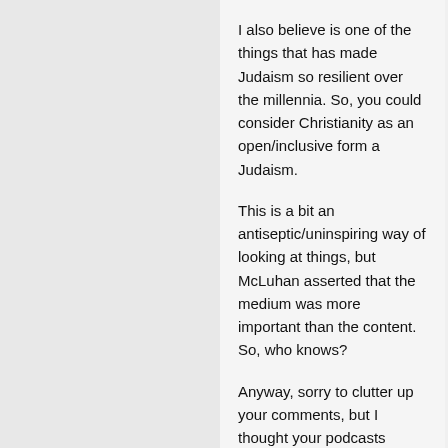I also believe is one of the things that has made Judaism so resilient over the millennia. So, you could consider Christianity as an open/inclusive form a Judaism.
This is a bit an antiseptic/uninspiring way of looking at things, but McLuhan asserted that the medium was more important than the content. So, who knows?
Anyway, sorry to clutter up your comments, but I thought your podcasts (#75,#76,#77) were super super insightful and I wanted to return the favor.